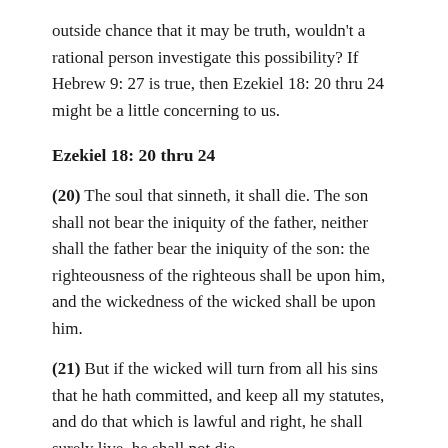outside chance that it may be truth, wouldn't a rational person investigate this possibility? If Hebrew 9: 27 is true, then Ezekiel 18: 20 thru 24 might be a little concerning to us.
Ezekiel 18: 20 thru 24
(20) The soul that sinneth, it shall die. The son shall not bear the iniquity of the father, neither shall the father bear the iniquity of the son: the righteousness of the righteous shall be upon him, and the wickedness of the wicked shall be upon him.
(21) But if the wicked will turn from all his sins that he hath committed, and keep all my statutes, and do that which is lawful and right, he shall surely live, he shall not die.